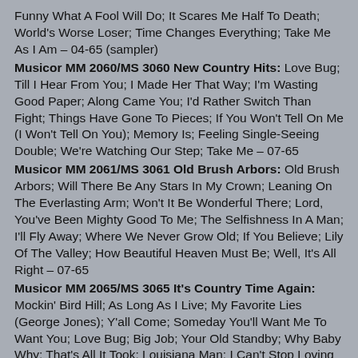Funny What A Fool Will Do; It Scares Me Half To Death; World's Worse Loser; Time Changes Everything; Take Me As I Am – 04-65 (sampler)
Musicor MM 2060/MS 3060 New Country Hits: Love Bug; Till I Hear From You; I Made Her That Way; I'm Wasting Good Paper; Along Came You; I'd Rather Switch Than Fight; Things Have Gone To Pieces; If You Won't Tell On Me (I Won't Tell On You); Memory Is; Feeling Single-Seeing Double; We're Watching Our Step; Take Me – 07-65
Musicor MM 2061/MS 3061 Old Brush Arbors: Old Brush Arbors; Will There Be Any Stars In My Crown; Leaning On The Everlasting Arm; Won't It Be Wonderful There; Lord, You've Been Mighty Good To Me; The Selfishness In A Man; I'll Fly Away; Where We Never Grow Old; If You Believe; Lily Of The Valley; How Beautiful Heaven Must Be; Well, It's All Right – 07-65
Musicor MM 2065/MS 3065 It's Country Time Again: Mockin' Bird Hill; As Long As I Live; My Favorite Lies (George Jones); Y'all Come; Someday You'll Want Me To Want You; Love Bug; Big Job; Your Old Standby; Why Baby Why; That's All It Took; Louisiana Man; I Can't Stop Loving You (Gene Pitney) – 08-65 w. Gene Pitney